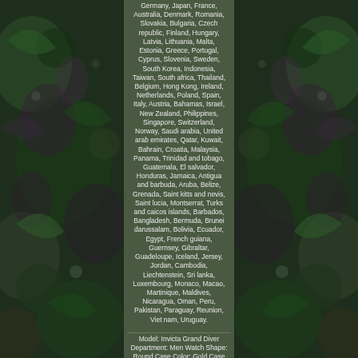[Figure (photo): Left side decorative photo of dark green and purple floral/leaf pattern]
Germany, Japan, France, Australia, Denmark, Romania, Slovakia, Bulgaria, Czech republic, Finland, Hungary, Latvia, Lithuania, Malta, Estonia, Greece, Portugal, Cyprus, Slovenia, Sweden, South Korea, Indonesia, Taiwan, South africa, Thailand, Belgium, Hong Kong, Ireland, Netherlands, Poland, Spain, Italy, Austria, Bahamas, Israel, New Zealand, Philippines, Singapore, Switzerland, Norway, Saudi arabia, United arab emirates, Qatar, Kuwait, Bahrain, Croatia, Malaysia, Panama, Trinidad and tobago, Guatemala, El salvador, Honduras, Jamaica, Antigua and barbuda, Aruba, Belize, Grenada, Saint kitts and nevis, Saint lucia, Montserrat, Turks and caicos islands, Barbados, Bangladesh, Bermuda, Brunei darussalam, Bolivia, Ecuador, Egypt, French guiana, Guernsey, Gibraltar, Guadeloupe, Iceland, Jersey, Jordan, Cambodia, Liechtenstein, Sri lanka, Luxembourg, Monaco, Macao, Martinique, Maldives, Nicaragua, Oman, Peru, Pakistan, Paraguay, Reunion, Viet nam, Uruguay.
Model: Invicta Grand Diver Department: Men Watch Shape: Round Case Color: Gold Case Material: Stainless Steel Movement: Japanese TMI NH35A Automatic w/ 24 Jewels Type: Wristwatch Customized: No Yaar
[Figure (photo): Right side decorative photo of dark green and purple floral/leaf pattern]